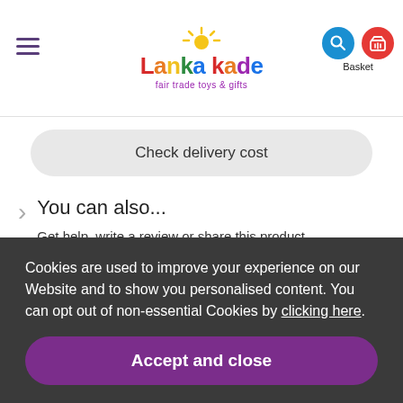[Figure (screenshot): Lanka Kade website header with logo, hamburger menu, search icon, and basket icon]
Check delivery cost
You can also...
Get help, write a review or share this product...
Ask a question
Cookies are used to improve your experience on our Website and to show you personalised content. You can opt out of non-essential Cookies by clicking here.
Accept and close
People who bought this also bought...